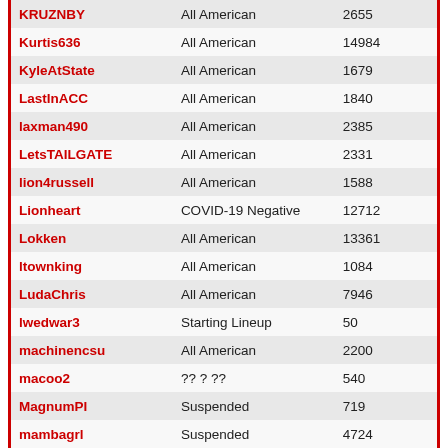| Username | Status | Points |
| --- | --- | --- |
| KRUZNBY | All American | 2655 |
| Kurtis636 | All American | 14984 |
| KyleAtState | All American | 1679 |
| LastInACC | All American | 1840 |
| laxman490 | All American | 2385 |
| LetsTAILGATE | All American | 2331 |
| lion4russell | All American | 1588 |
| Lionheart | COVID-19 Negative | 12712 |
| Lokken | All American | 13361 |
| ltownking | All American | 1084 |
| LudaChris | All American | 7946 |
| lwedwar3 | Starting Lineup | 50 |
| machinencsu | All American | 2200 |
| macoo2 | ?? ? ?? | 540 |
| MagnumPI | Suspended | 719 |
| mambagrl | Suspended | 4724 |
| Mappy | All American | 1025 |
| markgoal | All American | 15996 |
| marko | Tom Joad | 72478 |
| Maverick1024 | All American | 4866 |